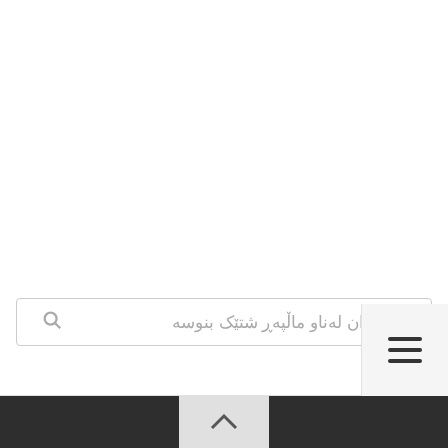بۆ گەران لەناو ماڵپەڕ شتێک بنوسە !
[Figure (screenshot): A search input box with a magnifying glass icon on the left and Kurdish placeholder text reading 'بۆ گەران لەناو ماڵپەڕ شتێک بنوسە !' on the right, in a right-to-left layout.]
[Figure (screenshot): A bottom navigation bar area with a horizontal divider line, a hamburger menu icon on the right side, and a dark footer bar at the very bottom with a centered chevron/up-arrow button.]